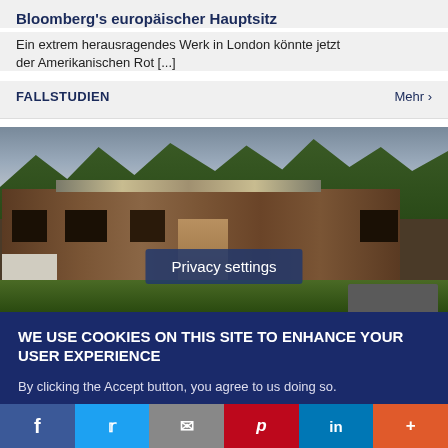Bloomberg's europäischer Hauptsitz
Ein extrem herausragendes Werk in London könnte jetzt der Amerikanischen Rot [...]
FALLSTUDIEN
Mehr >
[Figure (photo): Modern wood-clad single-story building with flat/sloped roof, surrounded by trees and green lawn, photographed at dusk with dramatic cloudy sky.]
Privacy settings
WE USE COOKIES ON THIS SITE TO ENHANCE YOUR USER EXPERIENCE
By clicking the Accept button, you agree to us doing so.